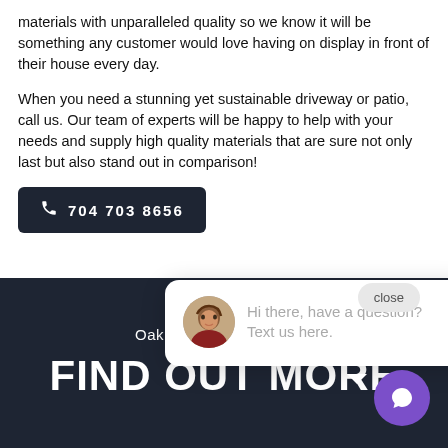materials with unparalleled quality so we know it will be something any customer would love having on display in front of their house every day.
When you need a stunning yet sustainable driveway or patio, call us. Our team of experts will be happy to help with your needs and supply high quality materials that are sure not only last but also stand out in comparison!
📞 704 703 8656
close
[Figure (photo): Chat popup with a woman's avatar photo and the text: Hi there, have a question? Text us here.]
Hi there, have a question? Text us here.
Oakhurst, North Carolina
FIND OUT MORE